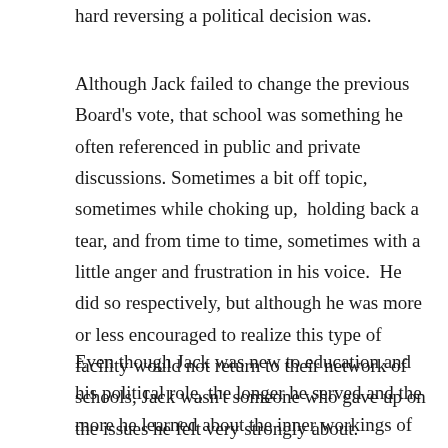hard reversing a political decision was.
Although Jack failed to change the previous Board’s vote, that school was something he often referenced in public and private discussions. Sometimes a bit off topic, sometimes while choking up,  holding back a tear, and from time to time, sometimes with a little anger and frustration in his voice.  He did so respectively, but although he was more or less encouraged to realize this type of facility would not return to their network of schools, Jack wasn’t someone who gave up on the issues he felt very strongly about.
Even though Jack was new to education and his political role, the longer he served and the more he learned about the inner workings of publicly funded education, the more he came to know the more education practices of